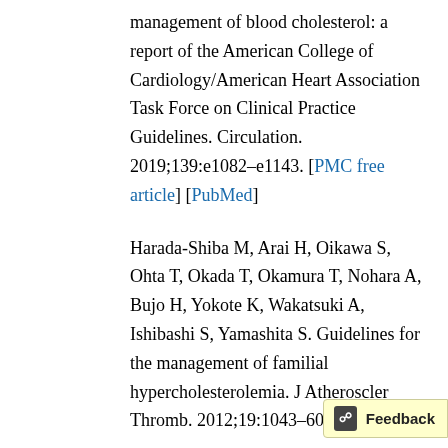management of blood cholesterol: a report of the American College of Cardiology/American Heart Association Task Force on Clinical Practice Guidelines. Circulation. 2019;139:e1082–e1143. [PMC free article] [PubMed]
Harada-Shiba M, Arai H, Oikawa S, Ohta T, Okada T, Okamura T, Nohara A, Bujo H, Yokote K, Wakatsuki A, Ishibashi S, Yamashita S. Guidelines for the management of familial hypercholesterolemia. J Atheroscler Thromb. 2012;19:1043–60. [PubMed]
Hegele RA. Editorial: designing targeted sequencing panels for dyslipidemia.